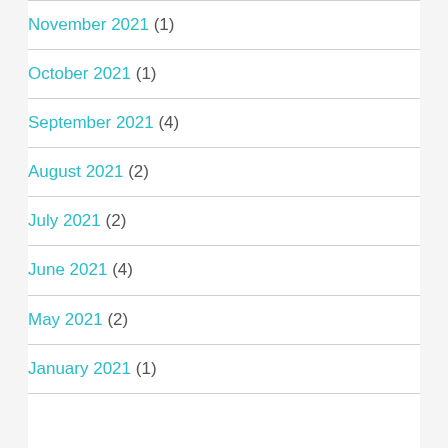November 2021 (1)
October 2021 (1)
September 2021 (4)
August 2021 (2)
July 2021 (2)
June 2021 (4)
May 2021 (2)
January 2021 (1)